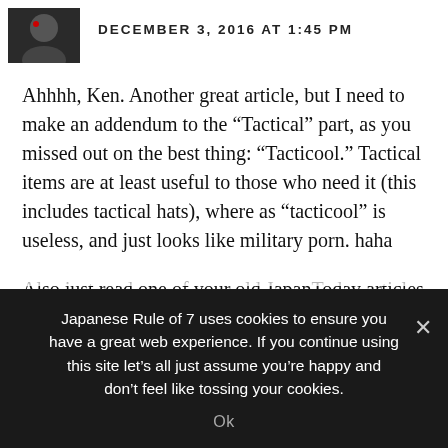DECEMBER 3, 2016 AT 1:45 PM
Ahhhh, Ken. Another great article, but I need to make an addendum to the “Tactical” part, as you missed out on the best thing: “Tacticool.” Tactical items are at least useful to those who need it (this includes tactical hats), where as “tacticool” is useless, and just looks like military porn. haha
Also just read one of your old JapanToday articles from forever ago entitled “Why you shouldn’t learn Japanese” also enjoyable. I didn’t know you wrote in other places (pardon my ignorance). I keep saying I’ll visit next year, but
Japanese Rule of 7 uses cookies to ensure you have a great web experience. If you continue using this site let’s all just assume you’re happy and don’t feel like tossing your cookies.